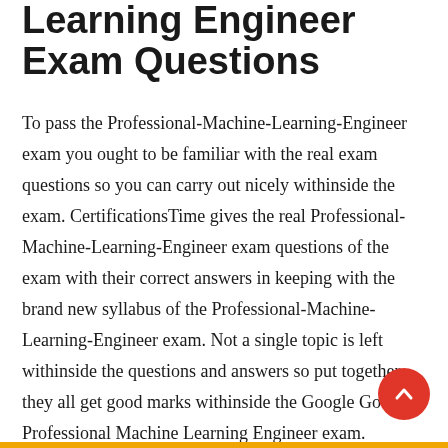Learning Engineer Exam Questions
To pass the Professional-Machine-Learning-Engineer exam you ought to be familiar with the real exam questions so you can carry out nicely withinside the exam. CertificationsTime gives the real Professional-Machine-Learning-Engineer exam questions of the exam with their correct answers in keeping with the brand new syllabus of the Professional-Machine-Learning-Engineer exam. Not a single topic is left withinside the questions and answers so put together they all get good marks withinside the Google Google Professional Machine Learning Engineer exam.